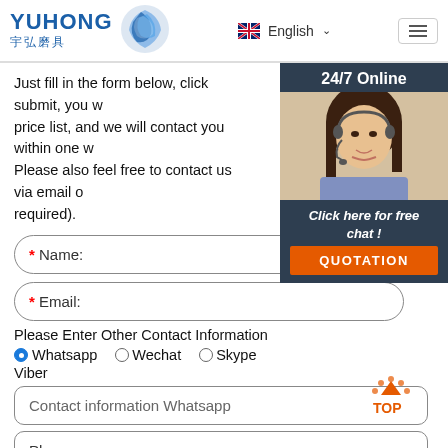YUHONG 宇弘磨具 | English | Menu
Just fill in the form below, click submit, you will get the price list, and we will contact you within one working day. Please also feel free to contact us via email or phone. (* is required).
[Figure (photo): 24/7 Online chat widget with a female customer service agent wearing a headset, with 'Click here for free chat!' text and an orange QUOTATION button]
* Name:
* Email:
Please Enter Other Contact Information
●Whatsapp   ○Wechat   ○Skype   Viber
Contact information Whatsapp
Phone: